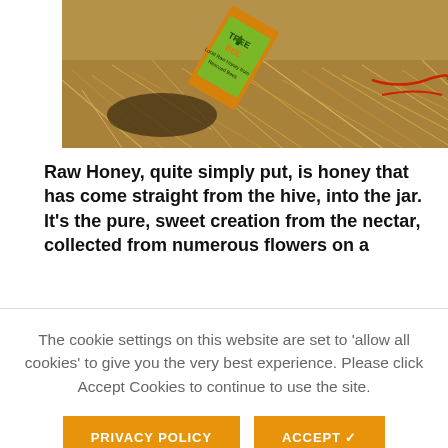[Figure (photo): A jar of 'Tree Bee Local Raw Honey from Rescued Bees' product lying on its side in dry straw/hay. The label is green with a tree silhouette. The word BEE appears in orange on the label.]
Raw Honey, quite simply put, is honey that has come straight from the hive, into the jar. It's the pure, sweet creation from the nectar, collected from numerous flowers on a
The cookie settings on this website are set to 'allow all cookies' to give you the very best experience. Please click Accept Cookies to continue to use the site.
PRIVACY POLICY
ACCEPT ✓